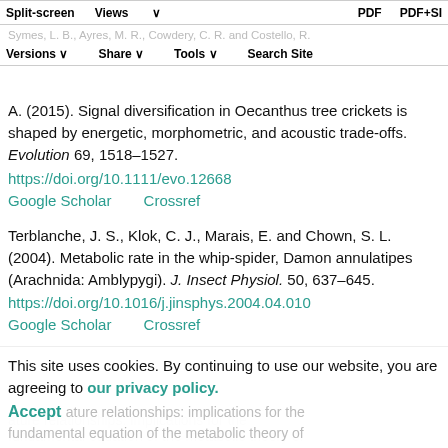https://doi.org/10.1086/phys265.50.1501557.13 — Google Split-screen Crossref Views PDF PDF+SI
Versions Share Tools Search Site
Symes, L. B., Ayres, M. R., Cowdery, C. R. and Costello, R. A. (2015). Signal diversification in Oecanthus tree crickets is shaped by energetic, morphometric, and acoustic trade-offs. Evolution 69, 1518-1527. https://doi.org/10.1111/evo.12668
Google Scholar    Crossref
Terblanche, J. S., Klok, C. J., Marais, E. and Chown, S. L. (2004). Metabolic rate in the whip-spider, Damon annulatipes (Arachnida: Amblypygi). J. Insect Physiol. 50, 637-645. https://doi.org/10.1016/j.jinsphys.2004.04.010
Google Scholar    Crossref
This site uses cookies. By continuing to use our website, you are agreeing to our privacy policy.
Accept